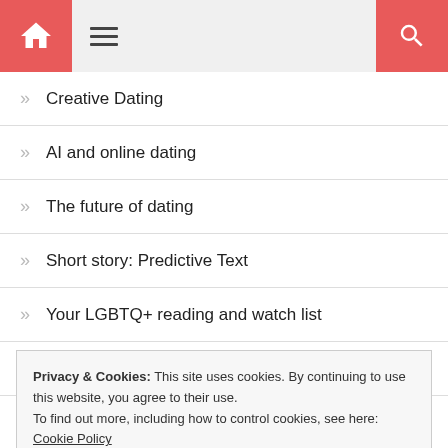Navigation header with home, menu, and search icons
Creative Dating
AI and online dating
The future of dating
Short story: Predictive Text
Your LGBTQ+ reading and watch list
Finding love in 2022
Privacy & Cookies: This site uses cookies. By continuing to use this website, you agree to their use. To find out more, including how to control cookies, see here: Cookie Policy
Why you didn't get a second date